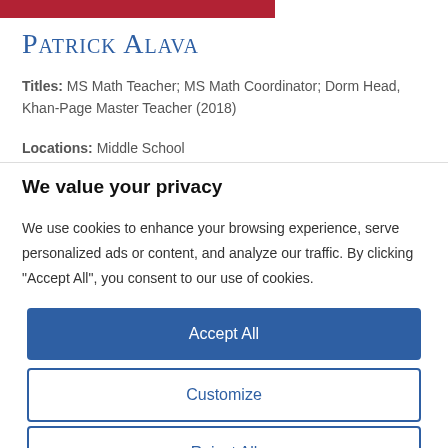[Figure (photo): Red banner/header image strip at top of page]
Patrick Alava
Titles: MS Math Teacher; MS Math Coordinator; Dorm Head, Khan-Page Master Teacher (2018)
Locations: Middle School
We value your privacy
We use cookies to enhance your browsing experience, serve personalized ads or content, and analyze our traffic. By clicking "Accept All", you consent to our use of cookies.
Accept All
Customize
Reject All